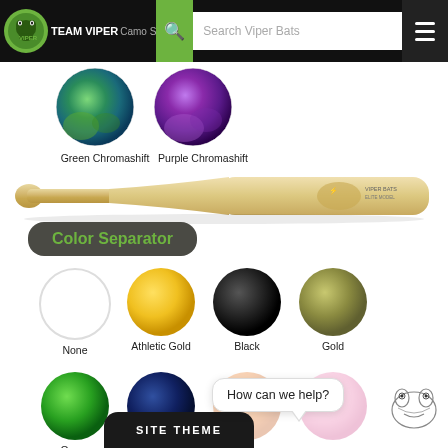TEAM VIPER — Search Viper Bats
[Figure (screenshot): Two color swatches: Green Chromashift (teal/green), Purple Chromashift (purple/pink)]
Green Chromashift   Purple Chromashift
[Figure (photo): Natural wood baseball bat with Team Viper branding]
Color Separator
[Figure (infographic): Color swatches row 1: None (white), Athletic Gold (yellow), Black, Gold (olive)]
None   Athletic Gold   Black   Gold
[Figure (infographic): Color swatches row 2: Green, Navy Blue, Orange (partial), Pink (partial)]
Green   Navy Blue
How can we help?
[Figure (logo): Team Viper mascot logo (alligator/snake head)]
SITE THEME